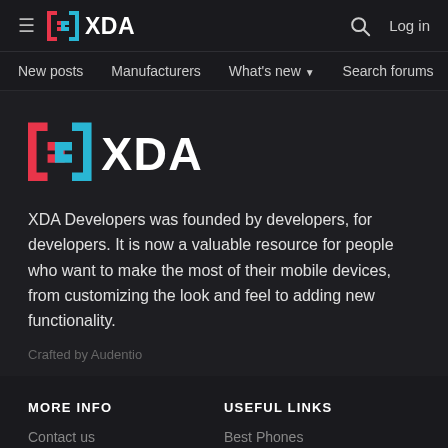≡  [·]XDA    🔍  Log in
New posts  Manufacturers  What's new ▾  Search forums  Membe  >
[Figure (logo): XDA Developers logo — large version with pink/cyan bracket icon and white XDA text]
XDA Developers was founded by developers, for developers. It is now a valuable resource for people who want to make the most of their mobile devices, from customizing the look and feel to adding new functionality.
Crafted by Audentio
MORE INFO
USEFUL LINKS
Contact us
Best Phones
Advertise
Root Any Device